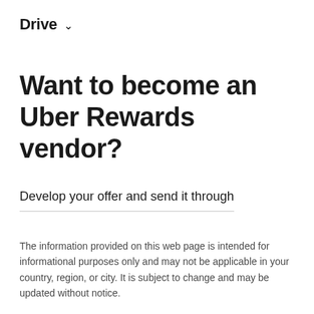Drive ˅
Want to become an Uber Rewards vendor?
Develop your offer and send it through
The information provided on this web page is intended for informational purposes only and may not be applicable in your country, region, or city. It is subject to change and may be updated without notice.